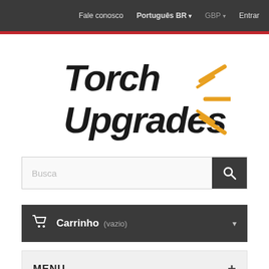Fale conosco  Português BR ▾  GBP ▾  Entrar
[Figure (logo): Torch Upgrades logo with stylized text and orange light rays]
Busca
🛒  Carrinho (vazio)
MENU +